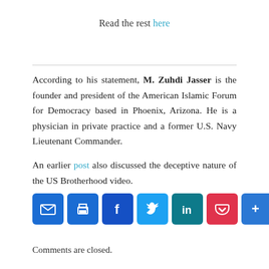Read the rest here
According to his statement, M. Zuhdi Jasser is the founder and president of the American Islamic Forum for Democracy based in Phoenix, Arizona. He is a physician in private practice and a former U.S. Navy Lieutenant Commander.
An earlier post also discussed the deceptive nature of the US Brotherhood video.
[Figure (other): Social sharing icon buttons: Email, Print, Facebook, Twitter, LinkedIn, Pocket, Share/More]
Comments are closed.